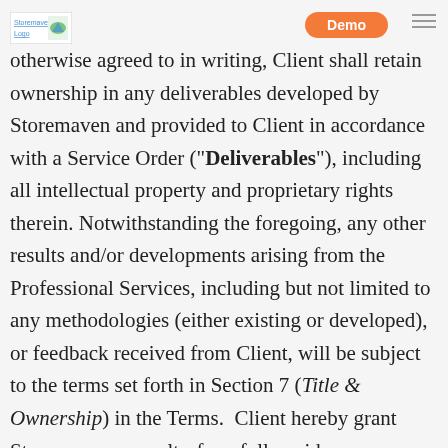Storemaven Logo | Demo
otherwise agreed to in writing, Client shall retain ownership in any deliverables developed by Storemaven and provided to Client in accordance with a Service Order (“Deliverables”), including all intellectual property and proprietary rights therein. Notwithstanding the foregoing, any other results and/or developments arising from the Professional Services, including but not limited to any methodologies (either existing or developed), or feedback received from Client, will be subject to the terms set forth in Section 7 (Title & Ownership) in the Terms. Client hereby grant Storemaven a royalty-free, fully paid, non-exclusive, license to use, access, adjust,